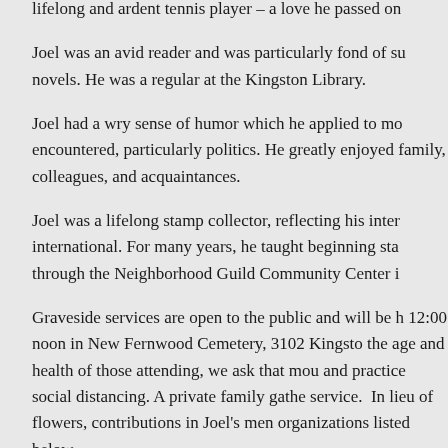lifelong and ardent tennis player – a love he passed on
Joel was an avid reader and was particularly fond of su novels. He was a regular at the Kingston Library.
Joel had a wry sense of humor which he applied to mo encountered, particularly politics. He greatly enjoyed family, colleagues, and acquaintances.
Joel was a lifelong stamp collector, reflecting his inter international. For many years, he taught beginning sta through the Neighborhood Guild Community Center i
Graveside services are open to the public and will be h 12:00 noon in New Fernwood Cemetery, 3102 Kingsto the age and health of those attending, we ask that mou and practice social distancing. A private family gathe service.  In lieu of flowers, contributions in Joel's men organizations listed below.
To view a recording of the funeral, please Click Here.
Shiva services will be held this Wednesday and Thurs